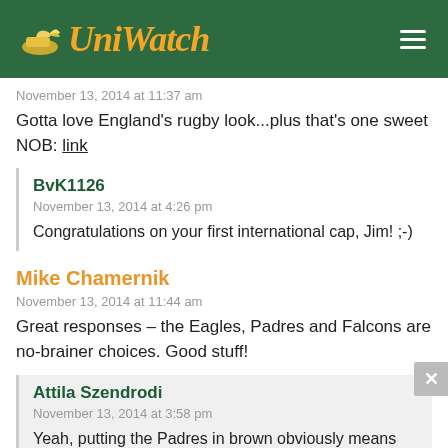Uni Watch
November 13, 2014 at 11:37 am
Gotta love England's rugby look...plus that's one sweet NOB: link
BvK1126
November 13, 2014 at 4:26 pm
Congratulations on your first international cap, Jim! ;-)
Mike Chamernik
November 13, 2014 at 11:44 am
Great responses – the Eagles, Padres and Falcons are no-brainer choices. Good stuff!
Attila Szendrodi
November 13, 2014 at 3:58 pm
Yeah, putting the Padres in brown obviously means they have no brain...
Attila Szendrodi